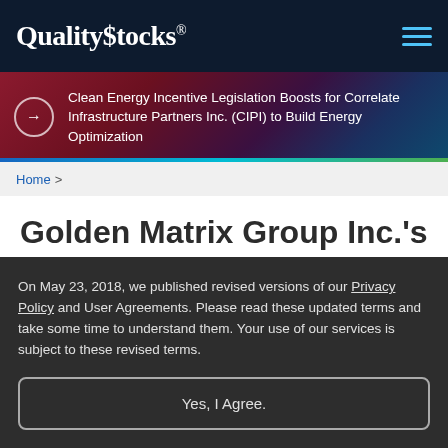Quality$tocks®
Clean Energy Incentive Legislation Boosts for Correlate Infrastructure Partners Inc. (CIPI) to Build Energy Optimization
Home >
Golden Matrix Group Inc.'s (NASDAQ: GMGI) AI-Powered I-Gaming Systems Fuel
On May 23, 2018, we published revised versions of our Privacy Policy and User Agreements. Please read these updated terms and take some time to understand them. Your use of our services is subject to these revised terms.
Yes, I Agree.